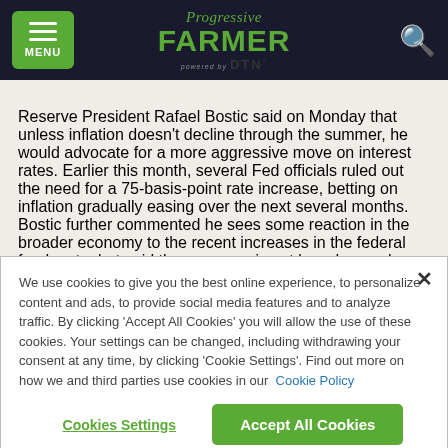[Figure (logo): Progressive Farmer powered by DTN logo in header with menu button and search icon]
Reserve President Rafael Bostic said on Monday that unless inflation doesn't decline through the summer, he would advocate for a more aggressive move on interest rates. Earlier this month, several Fed officials ruled out the need for a 75-basis-point rate increase, betting on inflation gradually easing over the next several months. Bostic further commented he sees some reaction in the broader economy to the recent increases in the federal funds rate, but said the response is not broad enough.
We use cookies to give you the best online experience, to personalize content and ads, to provide social media features and to analyze traffic. By clicking 'Accept All Cookies' you will allow the use of these cookies. Your settings can be changed, including withdrawing your consent at any time, by clicking 'Cookie Settings'. Find out more on how we and third parties use cookies in our Cookie Policy